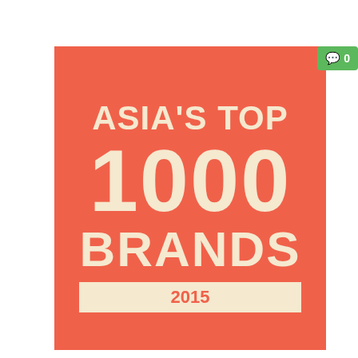[Figure (illustration): Book cover with coral/red-orange background showing 'ASIA'S TOP 1000 BRANDS 2015' in large cream/beige bold text, with a cream banner at the bottom containing '2015'. A green badge with a speech bubble icon and '0' appears in the top-right corner.]